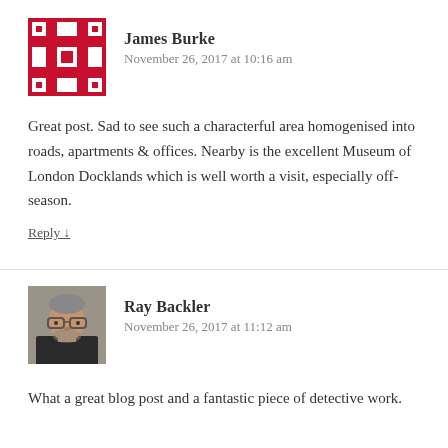[Figure (photo): Avatar image for James Burke — red and white geometric/mosaic pattern square icon]
James Burke
November 26, 2017 at 10:16 am
Great post. Sad to see such a characterful area homogenised into roads, apartments & offices. Nearby is the excellent Museum of London Docklands which is well worth a visit, especially off-season.
Reply ↓
[Figure (photo): Avatar photo of Ray Backler — man with glasses, dark clothing, gray beard]
Ray Backler
November 26, 2017 at 11:12 am
What a great blog post and a fantastic piece of detective work.